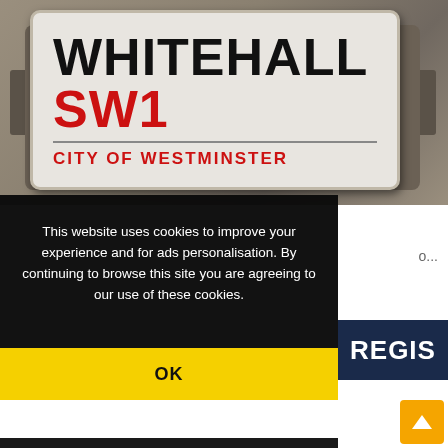[Figure (photo): Whitehall SW1 City of Westminster street sign mounted on a stone wall. Black text 'WHITEHALL', red text 'SW1', and red text 'CITY OF WESTMINSTER' on a white sign with rounded corners.]
This website uses cookies to improve your experience and for ads personalisation. By continuing to browse this site you are agreeing to our use of these cookies.
You can learn more about the cookies we use here.
OK